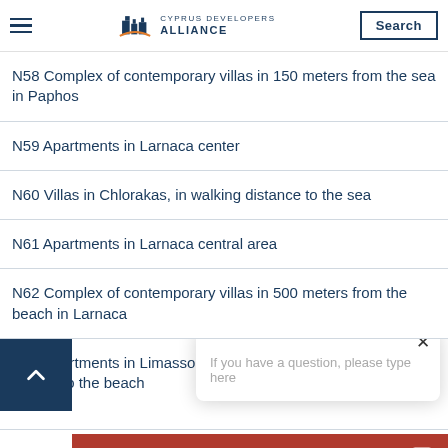Cyprus Developers Alliance — Search
N58 Complex of contemporary villas in 150 meters from the sea in Paphos
N59 Apartments in Larnaca center
N60 Villas in Chlorakas, in walking distance to the sea
N61 Apartments in Larnaca central area
N62 Complex of contemporary villas in 500 meters from the beach in Larnaca
N63 Apartments in Limassol tourist area, in 800 meters to the beach
N64 Spacious cont…
If you have a question, please type here
Chat now